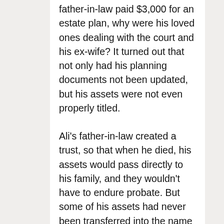father-in-law paid $3,000 for an estate plan, why were his loved ones dealing with the court and his ex-wife? It turned out that not only had his planning documents not been updated, but his assets were not even properly titled.
Ali's father-in-law created a trust, so that when he died, his assets would pass directly to his family, and they wouldn't have to endure probate. But some of his assets had never been transferred into the name of his trust from the beginning. And since there was no updated inventory of his assets, there was no way for his family to even confirm